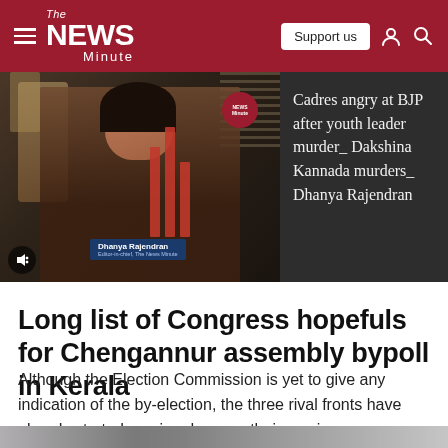The News Minute
[Figure (screenshot): Video panel showing Dhanya Rajendran, Editor-in-chief of The News Minute, with red graphic bars overlay and News Minute badge]
Cadres angry at BJP after youth leader murder_ Dakshina Kannada murders_ Dhanya Rajendran
Long list of Congress hopefuls for Chengannur assembly bypoll in Kerala
Although the Election Commission is yet to give any indication of the by-election, the three rival fronts have already started zeroing down on their nominees.
[Figure (photo): Bottom partial image, blurred/cropped news photo]